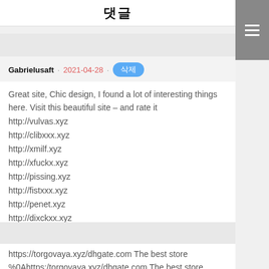댓글
Gabrielusaft · 2021-04-28 · 삭제
Great site, Chic design, I found a lot of interesting things here. Visit this beautiful site – and rate it
http://vulvas.xyz
http://clibxxx.xyz
http://xmilf.xyz
http://xfuckx.xyz
http://pissing.xyz
http://fistxxx.xyz
http://penet.xyz
http://dixckxx.xyz
http://gucks.xyz
http://bustyp.xyz
Internet video player
https://torgovaya.xyz/dhgate.com The best store
%0Ahttps:/torgovaya.xyz/dhgate.com The best store a5768_c